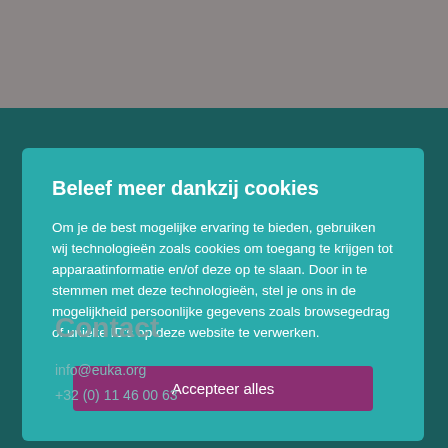Beleef meer dankzij cookies
Om je de best mogelijke ervaring te bieden, gebruiken wij technologieën zoals cookies om toegang te krijgen tot apparaatinformatie en/of deze op te slaan. Door in te stemmen met deze technologieën, stel je ons in de mogelijkheid persoonlijke gegevens zoals browsegedrag of unieke ID's op deze website te verwerken.
Accepteer alles
Contact
info@euka.org
+32 (0) 11 46 00 63